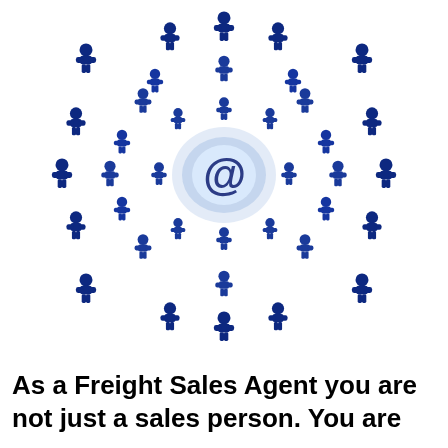[Figure (illustration): A 3D illustration of many blue meeple/person-shaped figures arranged in a radial/starburst pattern around a central silver and blue @ (at) symbol. The figures radiate outward in all directions from the central symbol, creating a network or community visual metaphor.]
As a Freight Sales Agent you are not just a sales person. You are